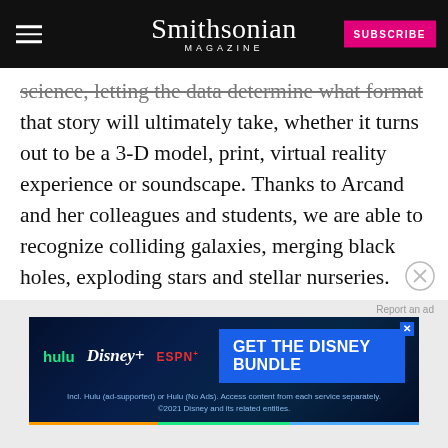Smithsonian MAGAZINE
science, letting the data determine what format that story will ultimately take, whether it turns out to be a 3-D model, print, virtual reality experience or soundscape. Thanks to Arcand and her colleagues and students, we are able to recognize colliding galaxies, merging black holes, exploding stars and stellar nurseries.
[Figure (other): Advertisement for Disney Bundle featuring Hulu, Disney+, and ESPN+ logos with 'GET THE DISNEY BUNDLE' call to action]
Report an ad